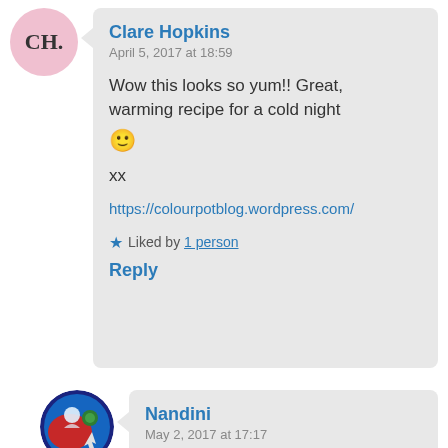CH.
Clare Hopkins
April 5, 2017 at 18:59
Wow this looks so yum!! Great, warming recipe for a cold night 🙂

xx

https://colourpotblog.wordpress.com/
Liked by 1 person
Reply
[Figure (illustration): Nandini user avatar - circular icon with red and blue illustration]
Nandini
May 2, 2017 at 17:17
Thanks 🙂